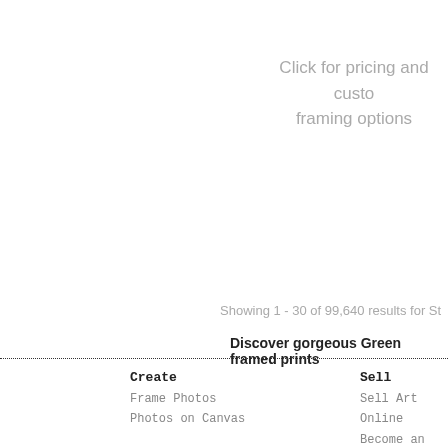Click for pricing and custom framing options
Showing 1 - 30 of 99,640 results for St
Discover gorgeous Green framed prints
Create
Frame Photos
Photos on Canvas
Sell
Sell Art Online
Become an Affilia
Get a Trade Accou
Common Question